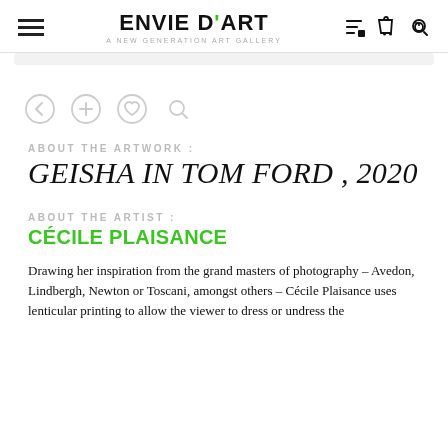ENVIE D'ART — A NEW GENERATION ART GALLERY
[Figure (screenshot): Faint gray search bar / image placeholder area below header]
[Figure (illustration): Four circular icon buttons: back arrow, plus/zoom-in, heart/favorite, magnifying glass search — in light gray]
ABOUT THE ARTWORK :
GEISHA IN TOM FORD , 2020
ABOUT THE ARTIST :
CÉCILE PLAISANCE
Drawing her inspiration from the grand masters of photography – Avedon, Lindbergh, Newton or Toscani, amongst others – Cécile Plaisance uses lenticular printing to allow the viewer to dress or undress the